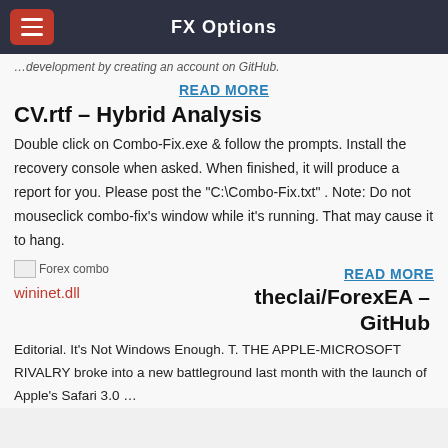FX Options
…development by creating an account on GitHub.
READ MORE
CV.rtf - Hybrid Analysis
Double click on Combo-Fix.exe & follow the prompts. Install the recovery console when asked. When finished, it will produce a report for you. Please post the "C:\Combo-Fix.txt" . Note: Do not mouseclick combo-fix's window while it's running. That may cause it to hang.
[Figure (other): Broken image placeholder labeled 'Forex combo']
wininet.dll
READ MORE
theclai/ForexEA - GitHub
Editorial. It's Not Windows Enough. T. THE APPLE-MICROSOFT RIVALRY broke into a new battleground last month with the launch of Apple's Safari 3.0 …